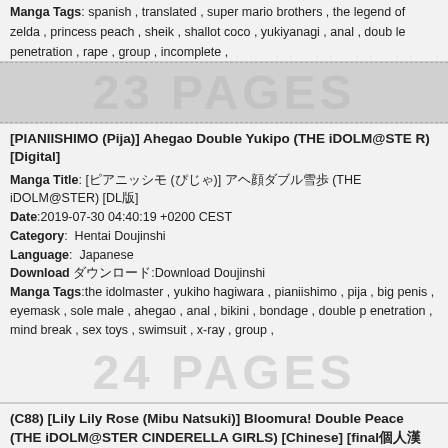Manga Tags: spanish , translated , super mario brothers , the legend of zelda , princess peach , sheik , shallot coco , yukiyanagi , anal , double penetration , rape , group , incomplete ,
23 PAGES
[PIANIISHIMO (Pija)] Ahegao Double Yukipo (THE iDOLM@STER) [Digital]
Manga Title: [ピアニッシモ (ぴじゃ)] アヘ顔ダブル雪歩 (THE iDOLM@STER) [DL版]
Date:2019-07-30 04:40:19 +0200 CEST
Category:  Hentai Doujinshi
Language:  Japanese
Download ダウンロード:Download Doujinshi
Manga Tags: the idolmaster , yukiho hagiwara , pianiishimo , pija , big penis , eyemask , sole male , ahegao , anal , bikini , bondage , double penetration , mind break , sex toys , swimsuit , x-ray , group ,
24 PAGES
(C88) [Lily Lily Rose (Mibu Natsuki)] Bloomura! Double Peace (THE iDOLM@STER CINDERELLA GIRLS) [Chinese] [final個人漢化]
Manga Title: (C88) [Lily Lily Rose (三分咲き)] ブルーむら! ダブルピース (アイドルマスターシンデレラガールズ) [中文翻譯]
Date:2020-05-28 05:40:19 +0200 CEST
Category:  Hentai Doujinshi
Language:  Chinese